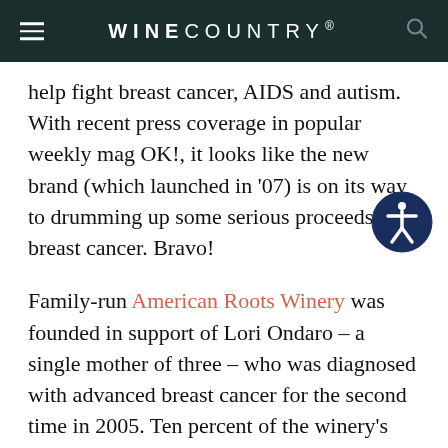WINECOUNTRY®
help fight breast cancer, AIDS and autism. With recent press coverage in popular weekly mag OK!, it looks like the new brand (which launched in '07) is on its way to drumming up some serious proceeds for breast cancer. Bravo!
Family-run American Roots Winery was founded in support of Lori Ondaro – a single mother of three – who was diagnosed with advanced breast cancer for the second time in 2005. Ten percent of the winery's sales go directly to organizations that improve the lives of breast cancer victims and further the search for a cure. Read our exclusive coverage of Lori's brave